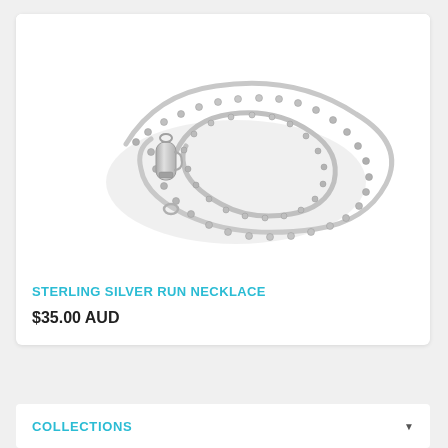[Figure (photo): A coiled sterling silver ball chain necklace with a lobster clasp, photographed on a white background.]
STERLING SILVER RUN NECKLACE
$35.00 AUD
COLLECTIONS